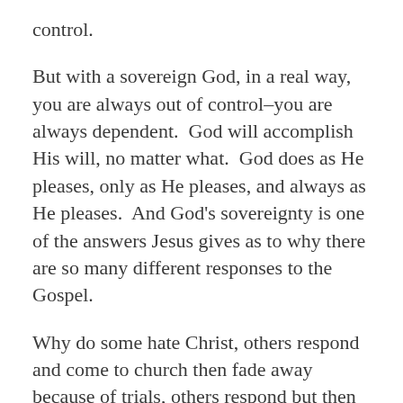control.
But with a sovereign God, in a real way, you are always out of control–you are always dependent. God will accomplish His will, no matter what. God does as He pleases, only as He pleases, and always as He pleases. And God's sovereignty is one of the answers Jesus gives as to why there are so many different responses to the Gospel.
Why do some hate Christ, others respond and come to church then fade away because of trials, others respond but then get distracted and choked out by lesser loves–but the genuine respond by producing varying levels of fruitfulness. Why do people respond so differently to God's Word? Jesus now says one of the reasons is He is in control. God is sovereign over salvation and sanctification. God is sovereign in choosing those who will be saved. God is sovereign in how people grow, and how the Gospel will spread